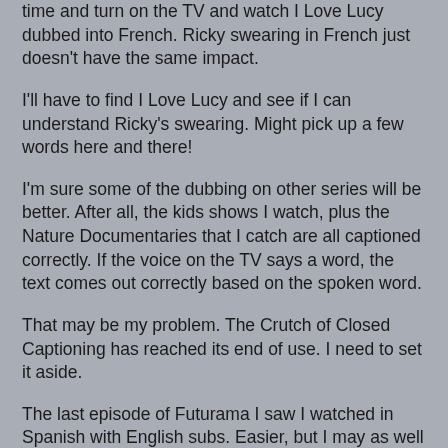time and turn on the TV and watch I Love Lucy dubbed into French.  Ricky swearing in French just doesn't have the same impact.
I'll have to find I Love Lucy and see if I can understand Ricky's swearing.  Might pick up a few words here and there!
I'm sure some of the dubbing on other series will be better.  After all, the kids shows I watch, plus the Nature Documentaries that I catch are all captioned correctly.  If the voice on the TV says a word, the text comes out correctly based on the spoken word.
That may be my problem.  The Crutch of Closed Captioning has reached its end of use.  I need to set it aside.
The last episode of Futurama I saw I watched in Spanish with English subs.  Easier, but I may as well watch it in full English.
I'll leave the captions off instead.
Who knows, it may help me get better at things...Until then!!!!